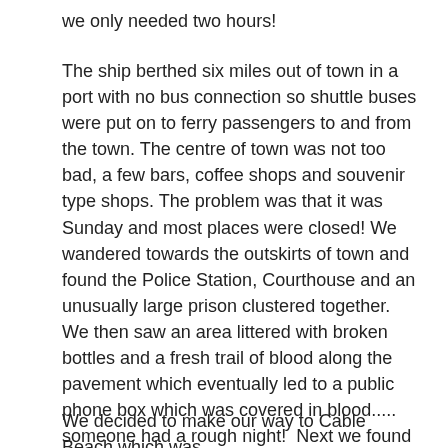we only needed two hours!
The ship berthed six miles out of town in a port with no bus connection so shuttle buses were put on to ferry passengers to and from the town. The centre of town was not too bad, a few bars, coffee shops and souvenir type shops. The problem was that it was Sunday and most places were closed! We wandered towards the outskirts of town and found the Police Station, Courthouse and an unusually large prison clustered together. We then saw an area littered with broken bottles and a fresh trail of blood along the pavement which eventually led to a public phone box which was covered in blood..... someone had a rough night!  Next we found a series of alcohol rehabilitation centres and homeless shelters.
We decided to make our way to Cable Beach which was